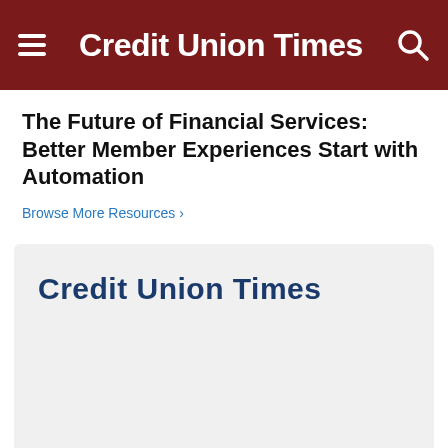Credit Union Times
The Future of Financial Services: Better Member Experiences Start with Automation
Browse More Resources ›
[Figure (logo): Credit Union Times logo on light gray card background]